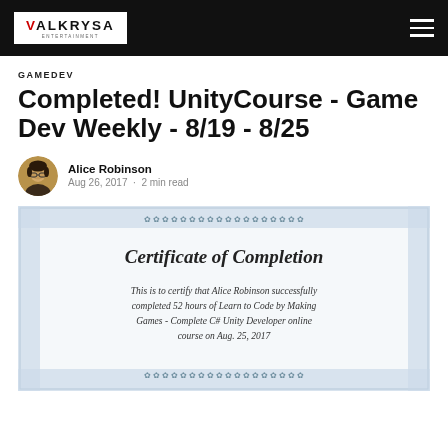VALKRYSA
GAMEDEV
Completed! UnityCourse - Game Dev Weekly - 8/19 - 8/25
Alice Robinson · Aug 26, 2017 · 2 min read
[Figure (photo): Author avatar photo of Alice Robinson, a woman with glasses and dark hair]
[Figure (photo): Certificate of Completion stating: This is to certify that Alice Robinson successfully completed 52 hours of Learn to Code by Making Games - Complete C# Unity Developer online course on Aug. 25, 2017]